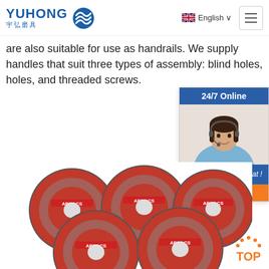YUHONG 宇弘磨具 | English
are also suitable for use as handrails. We supply handles that suit three types of assembly: blind holes, holes, and threaded screws.
Get Price
[Figure (photo): Customer service representative with headset, 24/7 Online chat widget with QUOTATION button]
[Figure (photo): Multiple ABRACS brand cutting/grinding discs arranged in a pile]